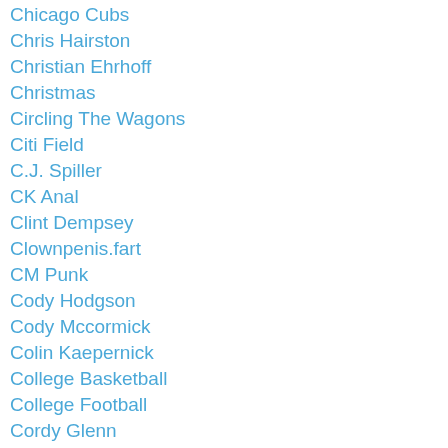Chicago Cubs
Chris Hairston
Christian Ehrhoff
Christmas
Circling The Wagons
Citi Field
C.J. Spiller
CK Anal
Clint Dempsey
Clownpenis.fart
CM Punk
Cody Hodgson
Cody Mccormick
Colin Kaepernick
College Basketball
College Football
Cordy Glenn
Craig Schaller
CrapTastiCast
Criminallyvu1ga
Daft Punk